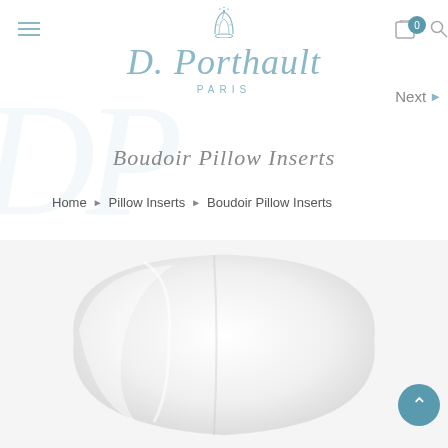[Figure (logo): D. Porthault Paris logo with crest and cursive script]
Boudoir Pillow Inserts
Home › Pillow Inserts › Boudoir Pillow Inserts
[Figure (photo): White satin boudoir pillow insert product photo on light gray background]